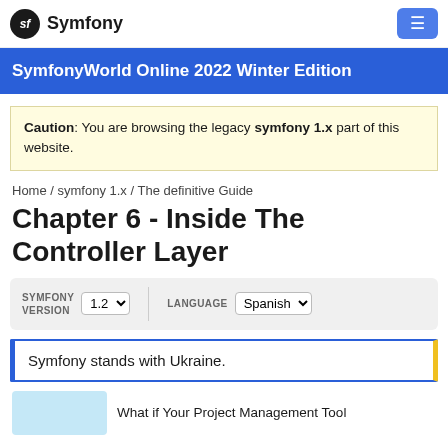Symfony
SymfonyWorld Online 2022 Winter Edition
Caution: You are browsing the legacy symfony 1.x part of this website.
Home / symfony 1.x / The definitive Guide
Chapter 6 - Inside The Controller Layer
SYMFONY VERSION 1.2  LANGUAGE Spanish
Symfony stands with Ukraine.
What if Your Project Management Tool